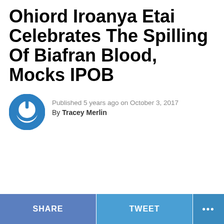Ohiord Iroanya Etai Celebrates The Spilling Of Biafran Blood, Mocks IPOB
Published 5 years ago on October 3, 2017
By Tracey Merlin
SHARE   TWEET   ...